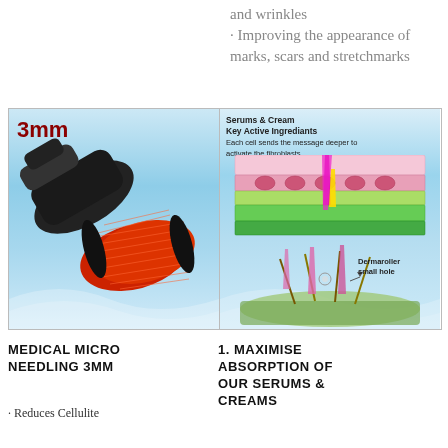and wrinkles
· Improving the appearance of marks, scars and stretchmarks
[Figure (photo): Left panel: Dermaroller device with red needle roller and black handle, labeled '3mm', on blue wave background. Right panel: Skin cross-section diagram showing serums and cream key active ingredients penetrating skin layers via needles, and a lower diagram showing dermaroller small hole interaction with skin layers. Labels: 'Serums & Cream Key Active Ingrediants', 'Each cell sends the message deeper to activate the fibroblasts', 'Dermaroller small hole'.]
MEDICAL MICRO NEEDLING 3MM
1. MAXIMISE ABSORPTION OF OUR SERUMS & CREAMS
· Reduces Cellulite